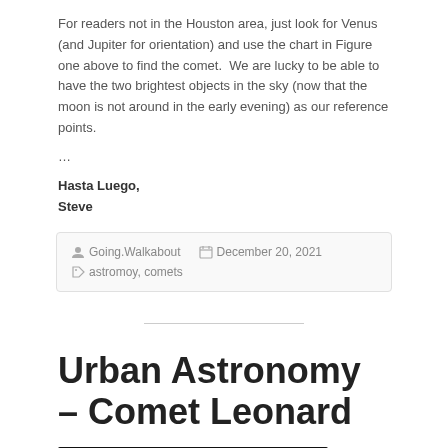For readers not in the Houston area, just look for Venus (and Jupiter for orientation) and use the chart in Figure one above to find the comet.  We are lucky to be able to have the two brightest objects in the sky (now that the moon is not around in the early evening) as our reference points.
...
Hasta Luego,
Steve
Going.Walkabout   December 20, 2021   astromoy, comets
Urban Astronomy – Comet Leonard
[Figure (photo): Dark night sky photograph, partial view]